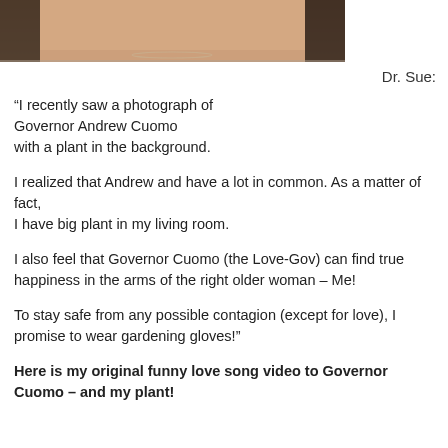[Figure (photo): Cropped photo of a woman's lower face and neckline, showing dark hair and a necklace, with a light background.]
Dr. Sue:
“I recently saw a photograph of Governor Andrew Cuomo with a plant in the background.

I realized that Andrew and have a lot in common. As a matter of fact,
I have big plant in my living room.

I also feel that Governor Cuomo (the Love-Gov) can find true happiness in the arms of the right older woman – Me!

To stay safe from any possible contagion (except for love), I promise to wear gardening gloves!”
Here is my original funny love song video to Governor Cuomo – and my plant!